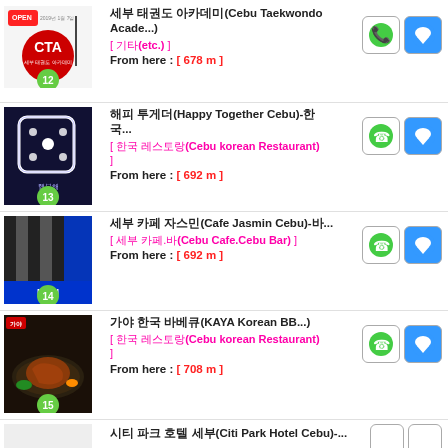세부 태권도 아카데미(Cebu Taekwondo Acade... [ 기타(etc.) ] From here : [ 678 m ]
해피 투게더(Happy Together Cebu)-한... [ 한국 레스토랑(Cebu korean Restaurant) ] From here : [ 692 m ]
세부 카페 자스민(Cafe Jasmin Cebu)-바... [ 세부 카페.바(Cebu Cafe.Cebu Bar) ] From here : [ 692 m ]
가야 한국 바베큐(KAYA Korean BB... [ 한국 레스토랑(Cebu korean Restaurant) ] From here : [ 708 m ]
시티 파크 호텔 세부(Citi Park Hotel Cebu)-...